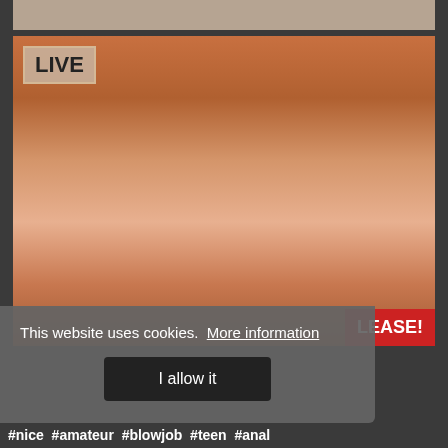[Figure (photo): Top strip of a photo partially visible at the top of the page]
[Figure (photo): Live webcam stream photo with LIVE badge in top left corner and RELEASE! badge in bottom right]
This website uses cookies.  More information
I allow it
#nice  #amateur  #blowjob  #teen  #anal